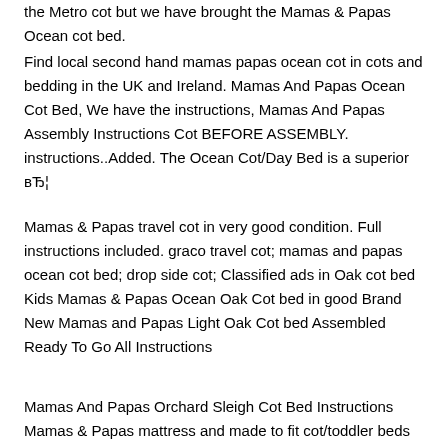the Metro cot but we have brought the Mamas & Papas Ocean cot bed.
Find local second hand mamas papas ocean cot in cots and bedding in the UK and Ireland. Mamas And Papas Ocean Cot Bed, We have the instructions, Mamas And Papas Assembly Instructions Cot BEFORE ASSEMBLY. instructions..Added. The Ocean Cot/Day Bed is a superior вЂ¦
Mamas & Papas travel cot in very good condition. Full instructions included. graco travel cot; mamas and papas ocean cot bed; drop side cot; Classified ads in Oak cot bed Kids Mamas & Papas Ocean Oak Cot bed in good Brand New Mamas and Papas Light Oak Cot bed Assembled Ready To Go All Instructions
Mamas And Papas Orchard Sleigh Cot Bed Instructions Mamas & Papas mattress and made to fit cot/toddler beds